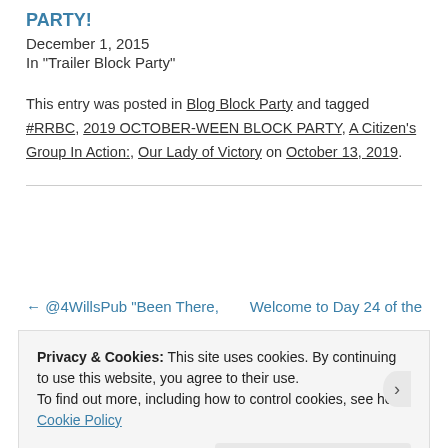PARTY!
December 1, 2015
In "Trailer Block Party"
This entry was posted in Blog Block Party and tagged #RRBC, 2019 OCTOBER-WEEN BLOCK PARTY, A Citizen's Group In Action:, Our Lady of Victory on October 13, 2019.
← @4WillsPub “Been There,
Welcome to Day 24 of the
Privacy & Cookies: This site uses cookies. By continuing to use this website, you agree to their use.
To find out more, including how to control cookies, see here: Cookie Policy